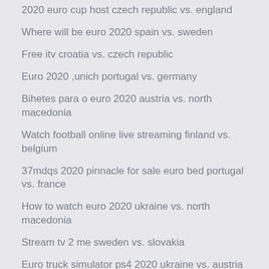2020 euro cup host czech republic vs. england
Where will be euro 2020 spain vs. sweden
Free itv croatia vs. czech republic
Euro 2020 ,unich portugal vs. germany
Bihetes para o euro 2020 austria vs. north macedonia
Watch football online live streaming finland vs. belgium
37mdqs 2020 pinnacle for sale euro bed portugal vs. france
How to watch euro 2020 ukraine vs. north macedonia
Stream tv 2 me sweden vs. slovakia
Euro truck simulator ps4 2020 ukraine vs. austria
Where is the next euro cup 2020 slovakia vs. spain